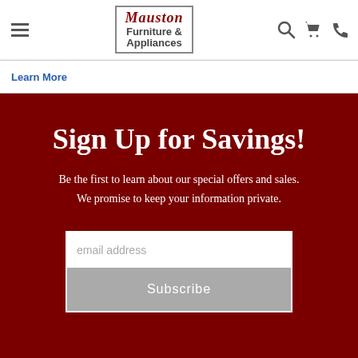Mauston Furniture & Appliances
Learn More
Sign Up for Savings!
Be the first to learn about our special offers and sales. We promise to keep your information private.
email address
Subscribe